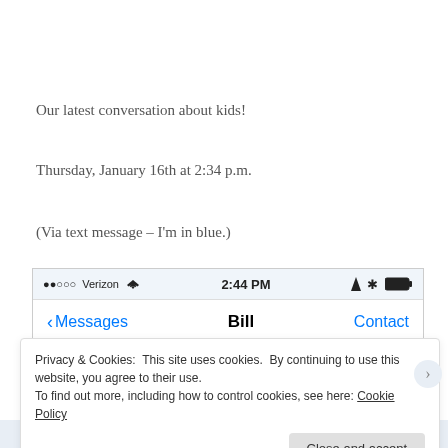Our latest conversation about kids!
Thursday, January 16th at 2:34 p.m.
(Via text message – I'm in blue.)
[Figure (screenshot): iPhone status bar showing ●●○○○ Verizon signal, WiFi icon, time 2:44 PM, location arrow, Bluetooth, and battery. Below: Messages navigation bar with Bill as contact and Contact button.]
Privacy & Cookies: This site uses cookies. By continuing to use this website, you agree to their use.
To find out more, including how to control cookies, see here: Cookie Policy
Close and accept